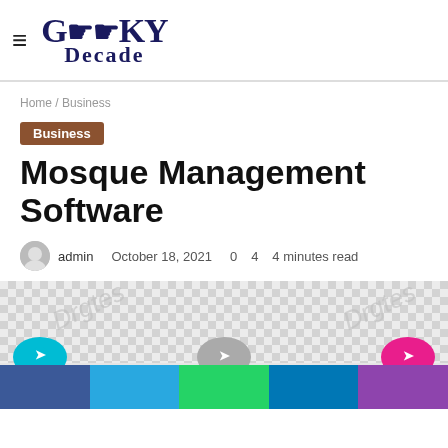Geeky Decade — site header with hamburger menu and logo
Home / Business
Business
Mosque Management Software
admin   October 18, 2021   0   4   4 minutes read
[Figure (photo): Article header image area with checkered placeholder background, watermark text, share icons (teal, gray, pink) and social sharing bar (Facebook, Twitter, WhatsApp, LinkedIn, Pinterest)]